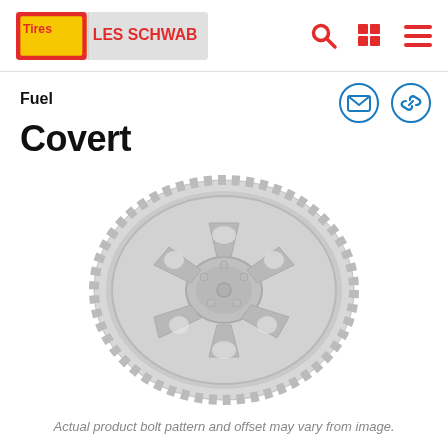Les Schwab Tires
Fuel
Covert
[Figure (photo): Fuel Covert wheel/rim product photo, shown in light gray/chrome finish with beadlock-style ring and multi-spoke design, displayed at an angle]
Actual product bolt pattern and offset may vary from image.